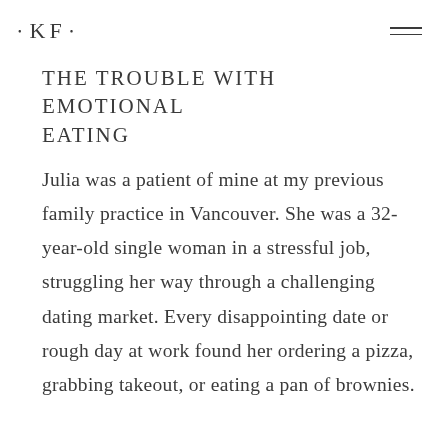• KF •
THE TROUBLE WITH EMOTIONAL EATING
Julia was a patient of mine at my previous family practice in Vancouver. She was a 32-year-old single woman in a stressful job, struggling her way through a challenging dating market. Every disappointing date or rough day at work found her ordering a pizza, grabbing takeout, or eating a pan of brownies.